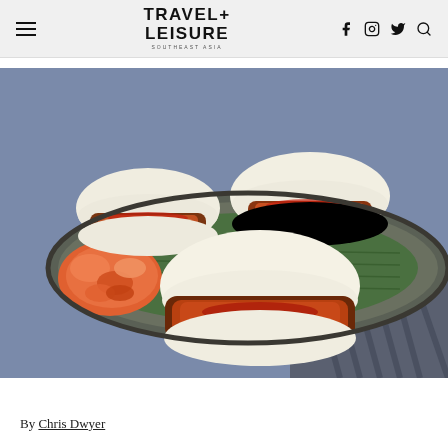Travel + Leisure
[Figure (photo): Three steamed bao buns filled with glazed pork belly and red sauce, served on an oval plate lined with a green bamboo leaf, alongside a portion of kimchi. Shot from above at a slight angle on a blue linen surface.]
By Chris Dwyer